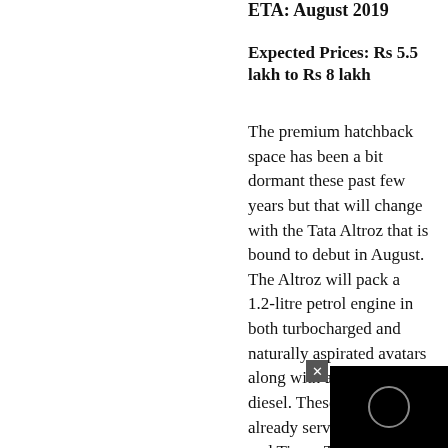ETA: August 2019
Expected Prices: Rs 5.5 lakh to Rs 8 lakh
The premium hatchback space has been a bit dormant these past few years but that will change with the Tata Altroz that is bound to debut in August. The Altroz will pack a 1.2-litre petrol engine in both turbocharged and naturally aspirated avatars along with a 1.5-litre diesel. These engines are already serving duty in and Tiago. The Altroz